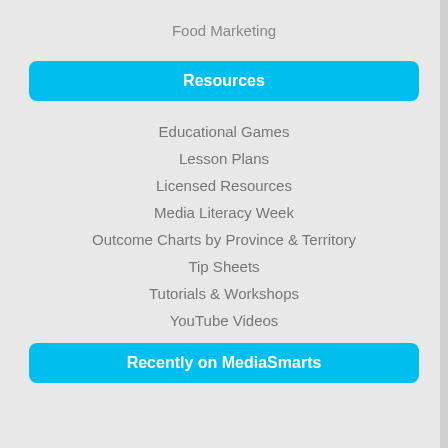Food Marketing
Resources
Educational Games
Lesson Plans
Licensed Resources
Media Literacy Week
Outcome Charts by Province & Territory
Tip Sheets
Tutorials & Workshops
YouTube Videos
Recently on MediaSmarts